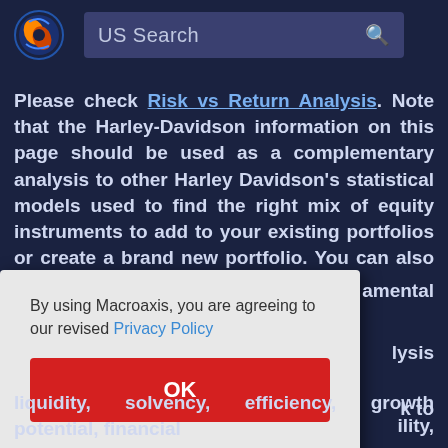US Search
Please check Risk vs Return Analysis. Note that the Harley-Davidson information on this page should be used as a complementary analysis to other Harley Davidson's statistical models used to find the right mix of equity instruments to add to your existing portfolios or create a brand new portfolio. You can also try Pair Correlation
By using Macroaxis, you are agreeing to our revised Privacy Policy
OK
liquidity, solvency, efficiency, growth potential, financial